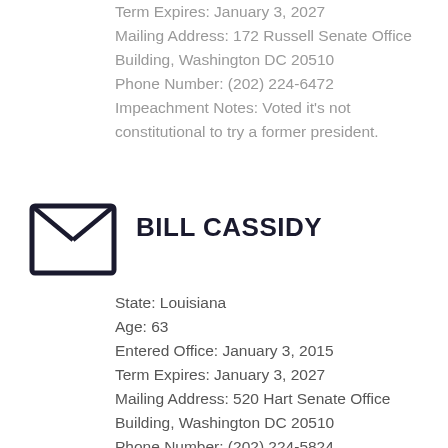Term Expires: January 3, 2027
Mailing Address: 172 Russell Senate Office Building, Washington DC 20510
Phone Number: (202) 224-6472
Impeachment Notes: Voted it's not constitutional to try a former president.
[Figure (illustration): Envelope icon - dark navy outline of an envelope with an X fold pattern]
BILL CASSIDY
State: Louisiana
Age: 63
Entered Office: January 3, 2015
Term Expires: January 3, 2027
Mailing Address: 520 Hart Senate Office Building, Washington DC 20510
Phone Number: (202) 224-5824
Notes on Impeachment: Opposing trial. Voted that IT IS constitutional to try a